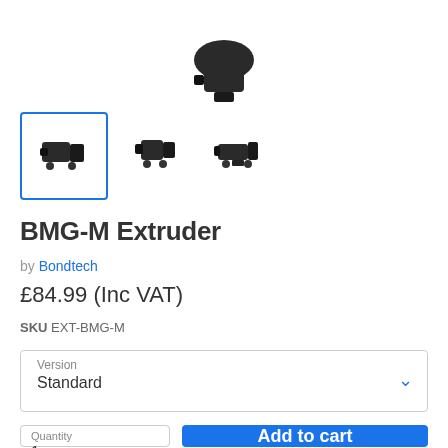[Figure (photo): Partial product photo of BMG-M Extruder at top of page]
[Figure (photo): Three thumbnail images of BMG-M Extruder from different angles; first thumbnail is selected with blue border]
BMG-M Extruder
by Bondtech
£84.99 (Inc VAT)
SKU EXT-BMG-M
Version
Standard
Quantity
1
Add to cart